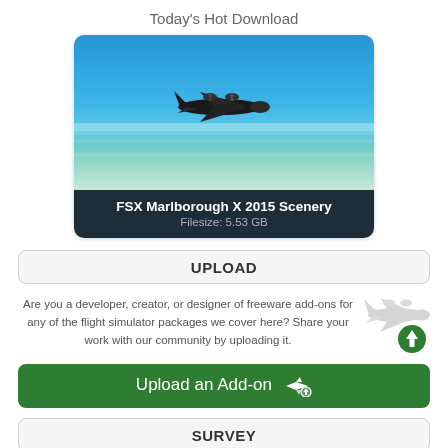Today's Hot Download
[Figure (photo): A turboprop aircraft flying low over ocean water with a blue sky background. Dark info bar below showing FSX Marlborough X 2015 Scenery title and filesize.]
FSX Marlborough X 2015 Scenery
Filesize: 5.53 GB
UPLOAD
Are you a developer, creator, or designer of freeware add-ons for any of the flight simulator packages we cover here? Share your work with our community by uploading it.
[Figure (illustration): Gray airplane silhouette with green circular upload arrow icon]
Upload an Add-on
SURVEY